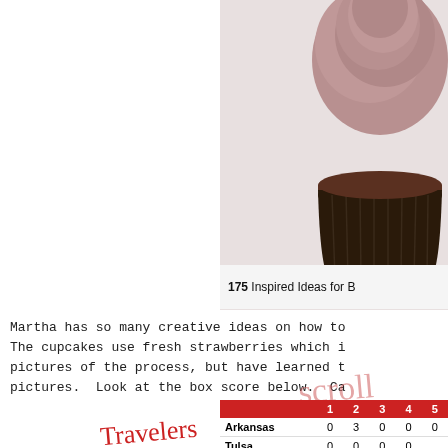[Figure (photo): Close-up photo of a chocolate cupcake with chocolate frosting on a white background]
175 Inspired Ideas for B
Martha has so many creative ideas on how to. The cupcakes use fresh strawberries which i pictures of the process, but have learned t pictures.  Look at the box score below. Ca
|  | 1 | 2 | 3 | 4 | 5 |
| --- | --- | --- | --- | --- | --- |
| Arkansas | 0 | 3 | 0 | 0 | 0 |
| Tulsa | 0 | 0 | 0 | 0 |  |